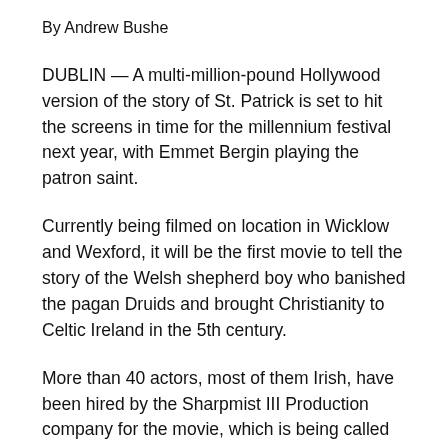By Andrew Bushe
DUBLIN — A multi-million-pound Hollywood version of the story of St. Patrick is set to hit the screens in time for the millennium festival next year, with Emmet Bergin playing the patron saint.
Currently being filmed on location in Wicklow and Wexford, it will be the first movie to tell the story of the Welsh shepherd boy who banished the pagan Druids and brought Christianity to Celtic Ireland in the 5th century.
More than 40 actors, most of them Irish, have been hired by the Sharpmist III Production company for the movie, which is being called "St. Patrick, The Irish Legend".